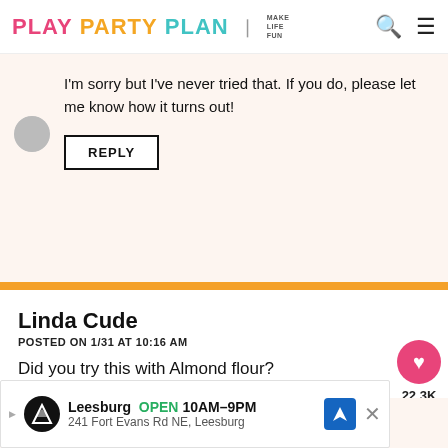PLAY PARTY PLAN | MAKE LIFE FUN
I'm sorry but I've never tried that. If you do, please let me know how it turns out!
REPLY
Linda Cude
POSTED ON 1/31 AT 10:16 AM
Did you try this with Almond flour?
22.3K
Britni Vigil
[Figure (screenshot): Advertisement banner: Leesburg OPEN 10AM-9PM, 241 Fort Evans Rd NE, Leesburg]